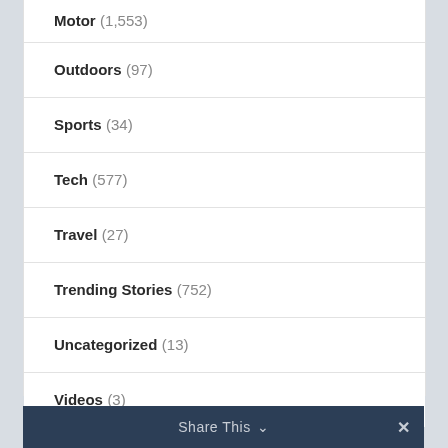Motor (1,553)
Outdoors (97)
Sports (34)
Tech (577)
Travel (27)
Trending Stories (752)
Uncategorized (13)
Videos (3)
Share This ∨  ✕